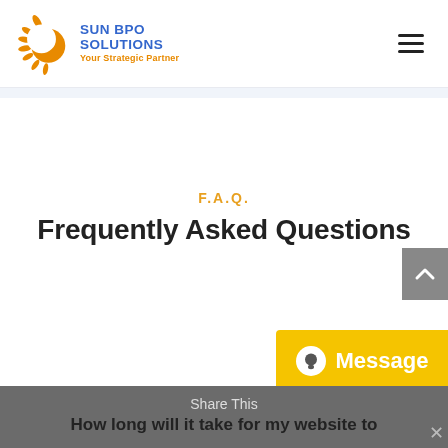[Figure (logo): Sun BPO Solutions logo with sun graphic and tagline 'Your Strategic Partner']
F.A.Q.
Frequently Asked Questions
Share This
How long will it take for my website to